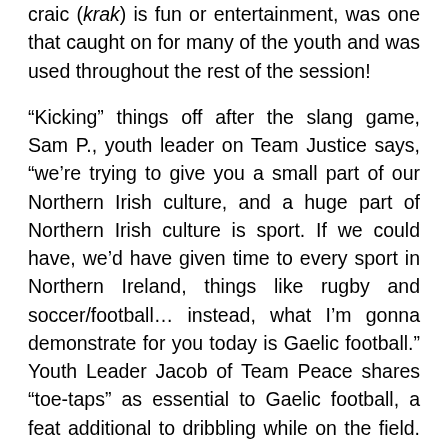craic (krak) is fun or entertainment, was one that caught on for many of the youth and was used throughout the rest of the session!
“Kicking” things off after the slang game, Sam P., youth leader on Team Justice says, “we’re trying to give you a small part of our Northern Irish culture, and a huge part of Northern Irish culture is sport. If we could have, we’d have given time to every sport in Northern Ireland, things like rugby and soccer/football… instead, what I’m gonna demonstrate for you today is Gaelic football.” Youth Leader Jacob of Team Peace shares “toe-taps” as essential to Gaelic football, a feat additional to dribbling while on the field. Screens were filled with smiles and laughs as young people and coaches from across the world practiced “toe-taps” and